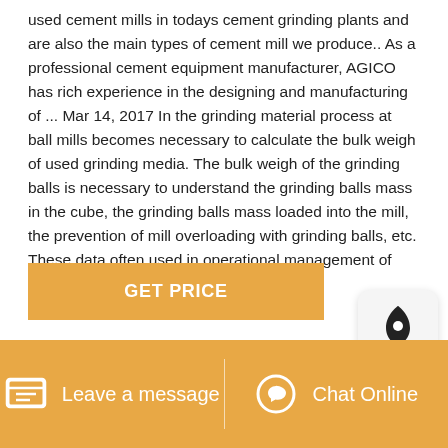used cement mills in todays cement grinding plants and are also the main types of cement mill we produce.. As a professional cement equipment manufacturer, AGICO has rich experience in the designing and manufacturing of ... Mar 14, 2017 In the grinding material process at ball mills becomes necessary to calculate the bulk weigh of used grinding media. The bulk weigh of the grinding balls is necessary to understand the grinding balls mass in the cube, the grinding balls mass loaded into the mill, the prevention of mill overloading with grinding balls, etc. These data often used in operational management of grinding
[Figure (other): Rocket/launch icon popup widget in a rounded rectangle on the right side]
GET PRICE
Leave a message   Chat Online